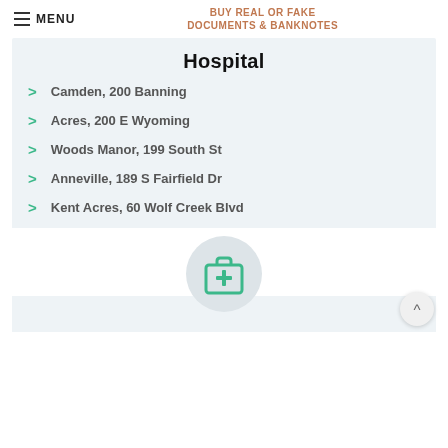MENU | BUY REAL OR FAKE DOCUMENTS & BANKNOTES
Hospital
Camden, 200 Banning
Acres, 200 E Wyoming
Woods Manor, 199 South St
Anneville, 189 S Fairfield Dr
Kent Acres, 60 Wolf Creek Blvd
[Figure (illustration): Medical first-aid kit icon in teal/green color inside a light gray circle, followed by a light blue background bar]